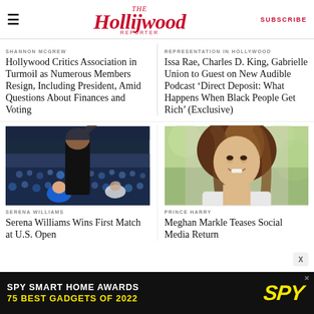The Hollywood Reporter | SUBSCRIBE
SHANNON MCGREW
Hollywood Critics Association in Turmoil as Numerous Members Resign, Including President, Amid Questions About Finances and Voting
REPRESENTATION IN HOLLYWOOD
Issa Rae, Charles D. King, Gabrielle Union to Guest on New Audible Podcast 'Direct Deposit: What Happens When Black People Get Rich' (Exclusive)
[Figure (photo): Serena Williams at tennis match raising her arm in front of a crowd]
SERENA WILLIAMS
Serena Williams Wins First Match at U.S. Open
[Figure (photo): Meghan Markle smiling outdoors, portrait photo]
PRINCE HARRY
Meghan Markle Teases Social Media Return
[Figure (infographic): Advertisement banner: SPY SMART HOME AWARDS 75 BEST GADGETS OF 2022 with SPY logo]